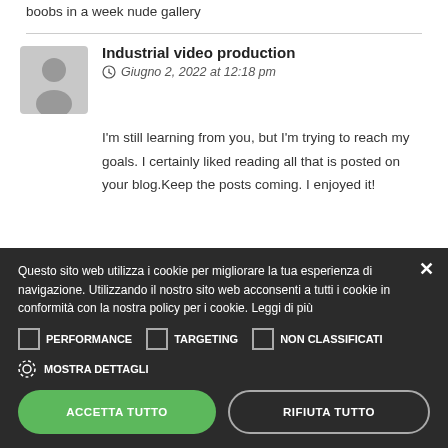boobs in a week nude gallery
[Figure (other): User avatar silhouette placeholder image (grey circle with person icon)]
Industrial video production
Giugno 2, 2022 at 12:18 pm
I'm still learning from you, but I'm trying to reach my goals. I certainly liked reading all that is posted on your blog.Keep the posts coming. I enjoyed it!
Questo sito web utilizza i cookie per migliorare la tua esperienza di navigazione. Utilizzando il nostro sito web acconsenti a tutti i cookie in conformità con la nostra policy per i cookie. Leggi di più
PERFORMANCE
TARGETING
NON CLASSIFICATI
MOSTRA DETTAGLI
ACCETTA TUTTO
RIFIUTA TUTTO